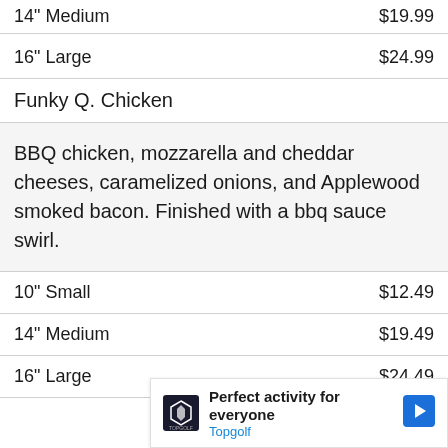| Item | Price |
| --- | --- |
| 14" Medium | $19.99 |
| 16" Large | $24.99 |
| Funky Q. Chicken |  |
| BBQ chicken, mozzarella and cheddar cheeses, caramelized onions, and Applewood smoked bacon. Finished with a bbq sauce swirl. |  |
| 10" Small | $12.49 |
| 14" Medium | $19.49 |
| 16" Large | $24.49 |
[Figure (other): Topgolf advertisement banner: 'Perfect activity for everyone' with Topgolf branding and navigation arrow icon]